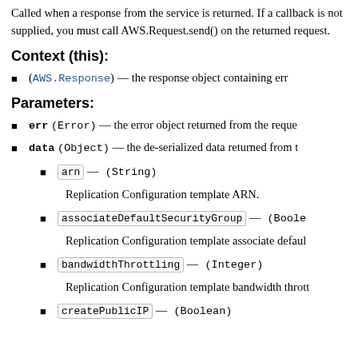Called when a response from the service is returned. If a callback is not supplied, you must call AWS.Request.send() on the returned request.
Context (this):
(AWS.Response) — the response object containing error, data properties, and other.
Parameters:
err (Error) — the error object returned from the request.
data (Object) — the de-serialized data returned from the request.
arn — (String)
Replication Configuration template ARN.
associateDefaultSecurityGroup — (Boolean)
Replication Configuration template associate default security group.
bandwidthThrottling — (Integer)
Replication Configuration template bandwidth throttling.
createPublicIP — (Boolean)